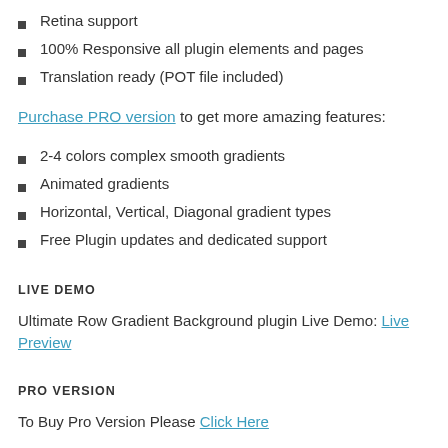Retina support
100% Responsive all plugin elements and pages
Translation ready (POT file included)
Purchase PRO version to get more amazing features:
2-4 colors complex smooth gradients
Animated gradients
Horizontal, Vertical, Diagonal gradient types
Free Plugin updates and dedicated support
LIVE DEMO
Ultimate Row Gradient Background plugin Live Demo: Live Preview
PRO VERSION
To Buy Pro Version Please Click Here